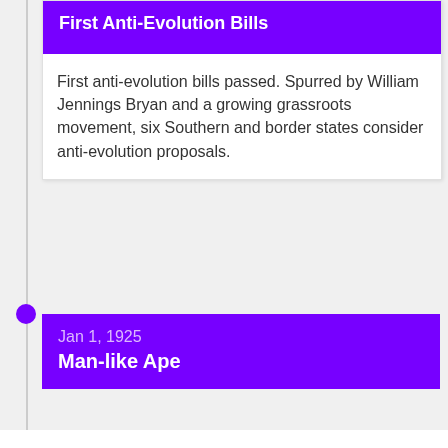First Anti-Evolution Bills
First anti-evolution bills passed. Spurred by William Jennings Bryan and a growing grassroots movement, six Southern and border states consider anti-evolution proposals.
Jan 1, 1925
Man-like Ape
We and our partners will store and/or access personal data on your device through the use of cookies and similar technologies, to display personalised ads, for ad and content measurement, audience insights and product development.

By clicking 'I agree,' you consent to this, or you can manage your preferences.